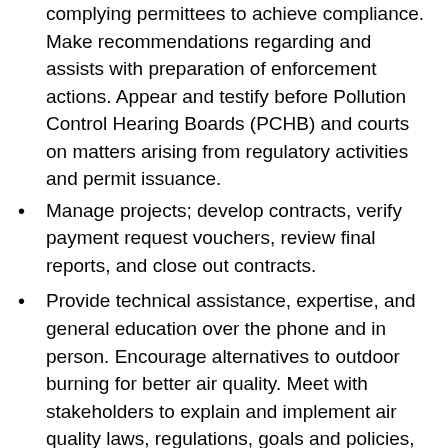complying permittees to achieve compliance. Make recommendations regarding and assists with preparation of enforcement actions. Appear and testify before Pollution Control Hearing Boards (PCHB) and courts on matters arising from regulatory activities and permit issuance.
Manage projects; develop contracts, verify payment request vouchers, review final reports, and close out contracts.
Provide technical assistance, expertise, and general education over the phone and in person. Encourage alternatives to outdoor burning for better air quality. Meet with stakeholders to explain and implement air quality laws, regulations, goals and policies, and best management practices.